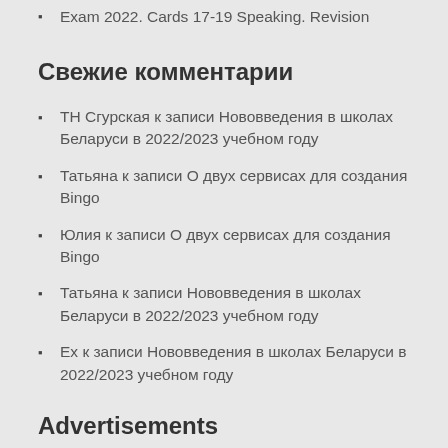Exam 2022. Cards 17-19 Speaking. Revision
Свежие комментарии
ТН Сгурская к записи Нововведения в школах Беларуси в 2022/2023 учебном году
Татьяна к записи О двух сервисах для создания Bingo
Юлия к записи О двух сервисах для создания Bingo
Татьяна к записи Нововведения в школах Беларуси в 2022/2023 учебном году
Ех к записи Нововведения в школах Беларуси в 2022/2023 учебном году
Advertisements